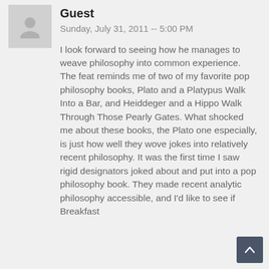Guest
Sunday, July 31, 2011 -- 5:00 PM
I look forward to seeing how he manages to weave philosophy into common experience. The feat reminds me of two of my favorite pop philosophy books, Plato and a Platypus Walk Into a Bar, and Heiddeger and a Hippo Walk Through Those Pearly Gates. What shocked me about these books, the Plato one especially, is just how well they wove jokes into relatively recent philosophy. It was the first time I saw rigid designators joked about and put into a pop philosophy book. They made recent analytic philosophy accessible, and I'd like to see if Breakfast